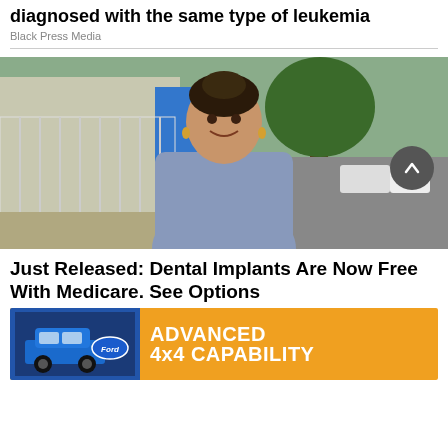diagnosed with the same type of leukemia
Black Press Media
[Figure (photo): A woman with dark hair in a bun wearing a grey short-sleeve dress, smiling outdoors on a sidewalk with a tree and a building with a white fence behind her.]
Just Released: Dental Implants Are Now Free With Medicare. See Options
[Figure (infographic): Ford advertisement banner showing a blue Ford Bronco SUV on a dark blue background with orange panel reading ADVANCED 4x4 CAPABILITY in white bold text, with Ford logo.]